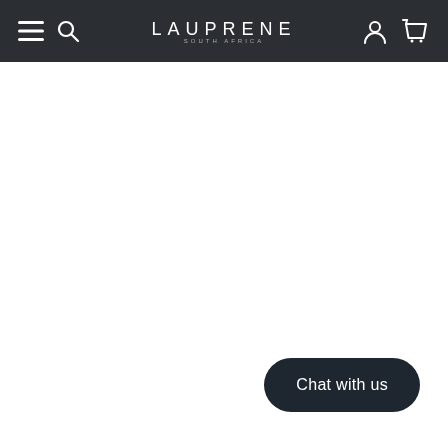LAUPRENE SOUTH AFRICA
Chat with us